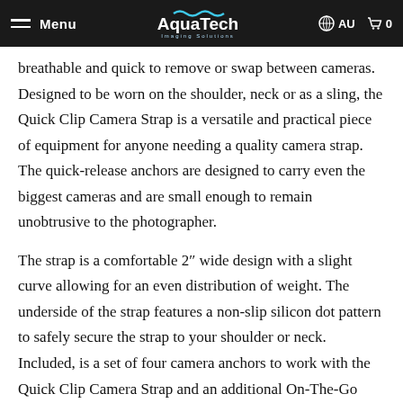Menu | AquaTech Imaging Solutions | AU | 0
breathable and quick to remove or swap between cameras. Designed to be worn on the shoulder, neck or as a sling, the Quick Clip Camera Strap is a versatile and practical piece of equipment for anyone needing a quality camera strap. The quick-release anchors are designed to carry even the biggest cameras and are small enough to remain unobtrusive to the photographer.
The strap is a comfortable 2″ wide design with a slight curve allowing for an even distribution of weight. The underside of the strap features a non-slip silicon dot pattern to safely secure the strap to your shoulder or neck. Included, is a set of four camera anchors to work with the Quick Clip Camera Strap and an additional On-The-Go Anchor for when you need to ensure your equipment is close to your body and out of harms way.